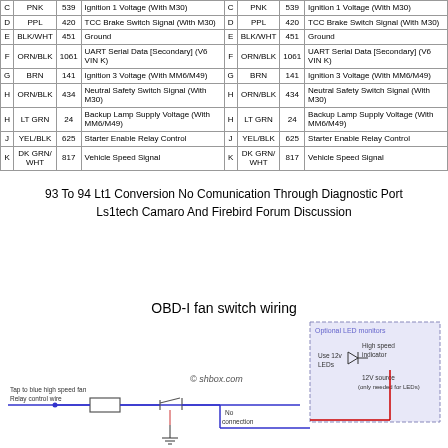|  | Color | Circuit | Description |  | Color | Circuit | Description |
| --- | --- | --- | --- | --- | --- | --- | --- |
| C | PNK | 539 | Ignition 1 Voltage (With M30) | C | PNK | 539 | Ignition 1 Voltage (With M30) |
| D | PPL | 420 | TCC Brake Switch Signal (With M30) | D | PPL | 420 | TCC Brake Switch Signal (With M30) |
| E | BLK/WHT | 451 | Ground | E | BLK/WHT | 451 | Ground |
| F | ORN/BLK | 1061 | UART Serial Data [Secondary] (V6 VIN K) | F | ORN/BLK | 1061 | UART Serial Data [Secondary] (V6 VIN K) |
| G | BRN | 141 | Ignition 3 Voltage (With MM6/M49) | G | BRN | 141 | Ignition 3 Voltage (With MM6/M49) |
| H | ORN/BLK | 434 | Neutral Safety Switch Signal (With M30) | H | ORN/BLK | 434 | Neutral Safety Switch Signal (With M30) |
| H | LT GRN | 24 | Backup Lamp Supply Voltage (With MM6/M49) | H | LT GRN | 24 | Backup Lamp Supply Voltage (With MM6/M49) |
| J | YEL/BLK | 625 | Starter Enable Relay Control | J | YEL/BLK | 625 | Starter Enable Relay Control |
| K | DK GRN/WHT | 817 | Vehicle Speed Signal | K | DK GRN/WHT | 817 | Vehicle Speed Signal |
93 To 94 Lt1 Conversion No Comunication Through Diagnostic Port Ls1tech Camaro And Firebird Forum Discussion
OBD-I fan switch wiring
[Figure (schematic): OBD-I fan switch wiring diagram showing connections from blue high speed fan relay control wire through fuse to switch, with optional LED monitors section on right showing high speed indicator LED with 12V source.]